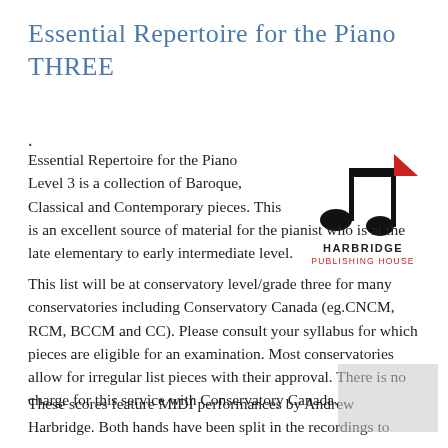Essential Repertoire for the Piano THREE
.
[Figure (logo): Harbridge Publishing House logo: music note icon with red flag, black body, above text HARBRIDGE PUBLISHING HOUSE]
Essential Repertoire for the Piano Level 3 is a collection of Baroque, Classical and Contemporary pieces. This is an excellent source of material for the pianist who is at the late elementary to early intermediate level.
This list will be at conservatory level/grade three for many conservatories including Conservatory Canada (eg.CNCM, RCM, BCCM and CC). Please consult your syllabus for which pieces are eligible for an examination. Most conservatories allow for irregular list pieces with their approval. There is no charge for this service with Conservatory Canada.
These scores feature MIDI performances by Andrew Harbridge. Both hands have been split in the recordings to